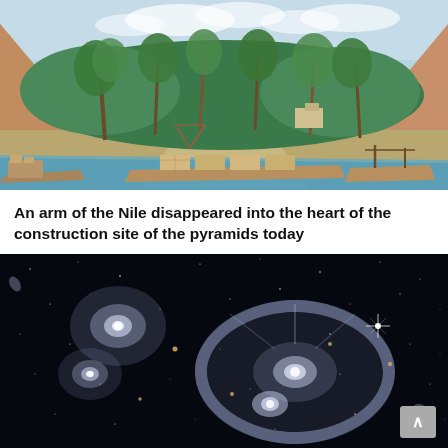[Figure (illustration): Illustrated scene showing ancient Egyptian pyramids in the background with palm trees, green vegetation, and the Nile river in the foreground with several wooden boats carrying stone blocks]
An arm of the Nile disappeared into the heart of the construction site of the pyramids today
[Figure (photo): Deep space photograph showing galaxies including the Cartwheel Galaxy and companion galaxies against a black star-filled background, captured by the James Webb Space Telescope]